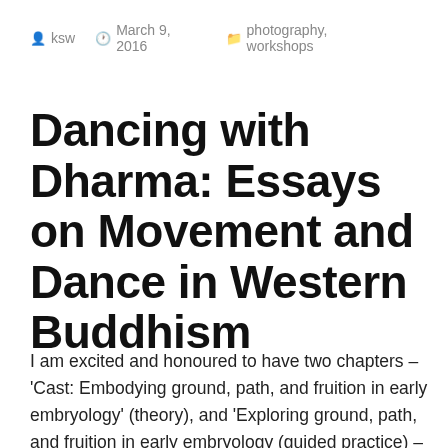ksw   March 9, 2016   photography, workshops
Dancing with Dharma: Essays on Movement and Dance in Western Buddhism
I am excited and honoured to have two chapters – 'Cast: Embodying ground, path, and fruition in early embryology' (theory), and 'Exploring ground, path, and fruition in early embryology (guided practice) – in the new collection Dancing with Dharma, edited by